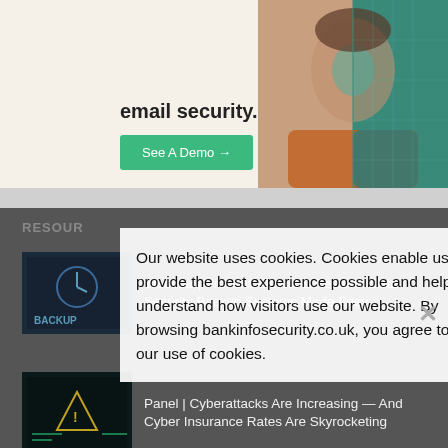[Figure (photo): Advertisement banner with headline about email security and a green 'See A Demo' button, with a split photo of a woman]
email security.
See A Demo →
RESOURCES
[Figure (photo): Thumbnail image for webinar about data security backup]
Webinar | Prevent, Detect & Restore: Data Security Backup Systems Made Easy
[Figure (photo): Thumbnail image for panel about cyberattacks and cyber insurance]
Panel | Cyberattacks Are Increasing — And Cyber Insurance Rates Are Skyrocketing
Our website uses cookies. Cookies enable us to provide the best experience possible and help us understand how visitors use our website. By browsing bankinfosecurity.co.uk, you agree to our use of cookies.